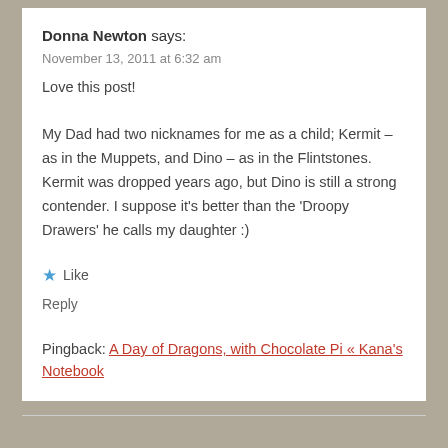Donna Newton says:
November 13, 2011 at 6:32 am
Love this post!

My Dad had two nicknames for me as a child; Kermit – as in the Muppets, and Dino – as in the Flintstones. Kermit was dropped years ago, but Dino is still a strong contender. I suppose it's better than the 'Droopy Drawers' he calls my daughter :)
★ Like
Reply
Pingback: A Day of Dragons, with Chocolate Pi « Kana's Notebook